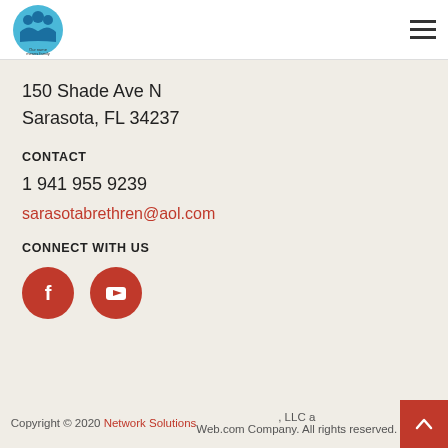Logo: Our name means family | Hamburger menu icon
150 Shade Ave N
Sarasota, FL 34237
CONTACT
1 941 955 9239
sarasotabrethren@aol.com
CONNECT WITH US
[Figure (illustration): Facebook and YouTube social media icons as red circles with white logos]
Copyright © 2020 Network Solutions, LLC a Web.com Company. All rights reserved.